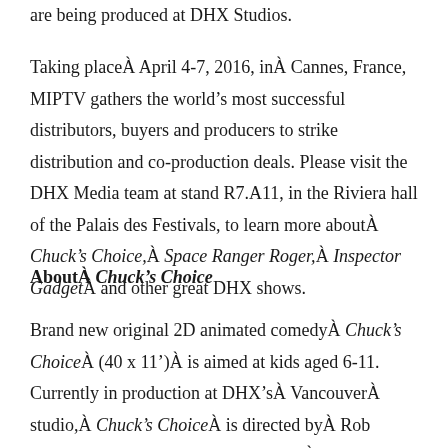are being produced at DHX Studios.
Taking placeÂ April 4-7, 2016, inÂ Cannes, France, MIPTV gathers the world’s most successful distributors, buyers and producers to strike distribution and co-production deals. Please visit the DHX Media team at stand R7.A11, in the Riviera hall of the Palais des Festivals, to learn more aboutÂ Chuck’s Choice,Â Space Ranger Roger,Â Inspector GadgetÂ and other great DHX shows.
AboutÂ Chuck’s Choice
Brand new original 2D animated comedyÂ Chuck’s ChoiceÂ (40 x 11’)Â is aimed at kids aged 6-11. Currently in production at DHX’sÂ VancouverÂ studio,Â Chuck’s ChoiceÂ is directed byÂ Rob Boutilier, creator of the hit kids’ showÂ Kid vs. Kat.